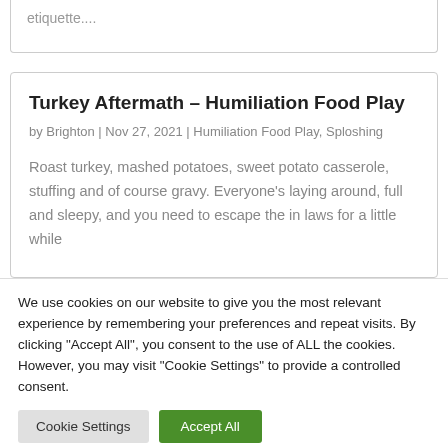etiquette....
Turkey Aftermath – Humiliation Food Play
by Brighton | Nov 27, 2021 | Humiliation Food Play, Sploshing
Roast turkey, mashed potatoes, sweet potato casserole, stuffing and of course gravy. Everyone's laying around, full and sleepy, and you need to escape the in laws for a little while
We use cookies on our website to give you the most relevant experience by remembering your preferences and repeat visits. By clicking "Accept All", you consent to the use of ALL the cookies. However, you may visit "Cookie Settings" to provide a controlled consent.